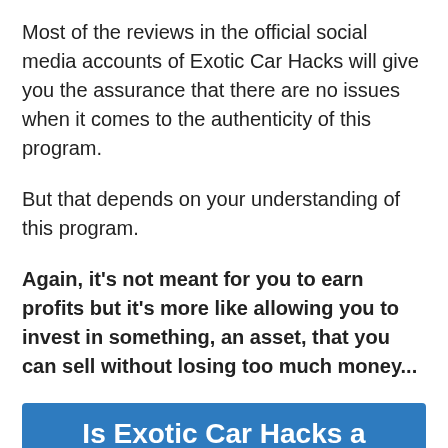Most of the reviews in the official social media accounts of Exotic Car Hacks will give you the assurance that there are no issues when it comes to the authenticity of this program.
But that depends on your understanding of this program.
Again, it's not meant for you to earn profits but it's more like allowing you to invest in something, an asset, that you can sell without losing too much money...
Is Exotic Car Hacks a scam?
Well, as far as this review is concerned, Exotic